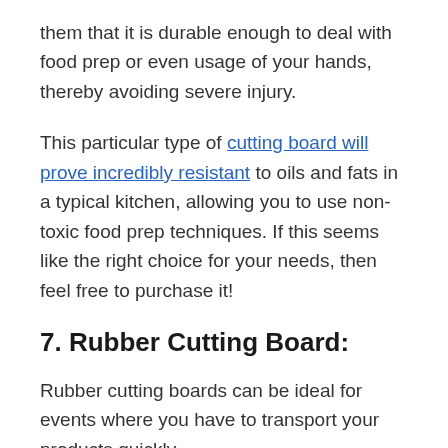them that it is durable enough to deal with food prep or even usage of your hands, thereby avoiding severe injury.
This particular type of cutting board will prove incredibly resistant to oils and fats in a typical kitchen, allowing you to use non-toxic food prep techniques. If this seems like the right choice for your needs, then feel free to purchase it!
7. Rubber Cutting Board:
Rubber cutting boards can be ideal for events where you have to transport your products quickly